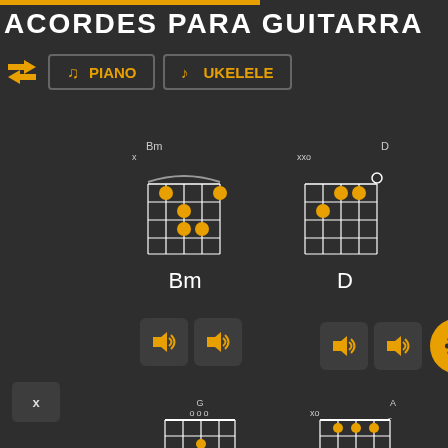ACORDES PARA GUITARRA
PIANO  UKELELE
[Figure (illustration): Bm guitar chord diagram with fret dots and barre, labeled 'Bm' below and chord position markers 'x' and 'Bm' above]
[Figure (illustration): D guitar chord diagram with fret dots, labeled 'D' below and chord position markers 'xx0' and 'D' above]
[Figure (illustration): G guitar chord diagram with dots near the nut, labeled 'G' and 'ooo' above]
[Figure (illustration): A guitar chord diagram with dots, labeled 'A' above and 'xo' markers]